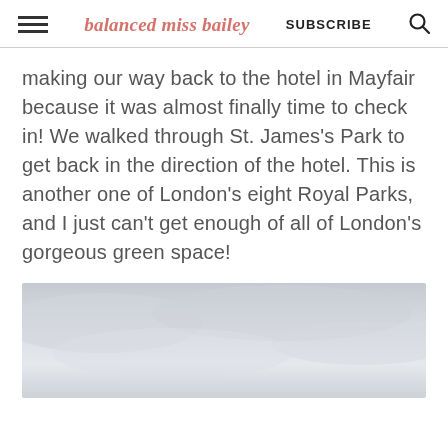balanced miss bailey  SUBSCRIBE
making our way back to the hotel in Mayfair because it was almost finally time to check in! We walked through St. James's Park to get back in the direction of the hotel. This is another one of London's eight Royal Parks, and I just can't get enough of all of London's gorgeous green space!
[Figure (photo): Overcast sky with grey clouds, partial view of a photo at the bottom of the page]